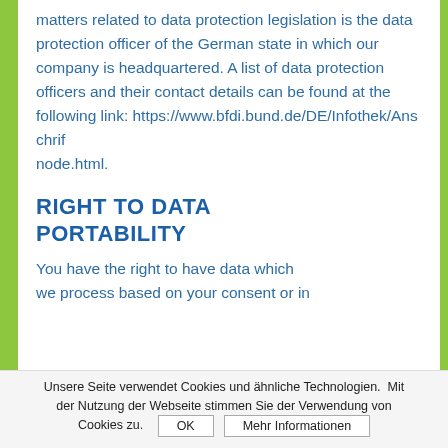matters related to data protection legislation is the data protection officer of the German state in which our company is headquartered. A list of data protection officers and their contact details can be found at the following link: https://www.bfdi.bund.de/DE/Infothek/Anschrif... node.html.
RIGHT TO DATA PORTABILITY
You have the right to have data which we process based on your consent or in...
Unsere Seite verwendet Cookies und ähnliche Technologien. Mit der Nutzung der Webseite stimmen Sie der Verwendung von Cookies zu.